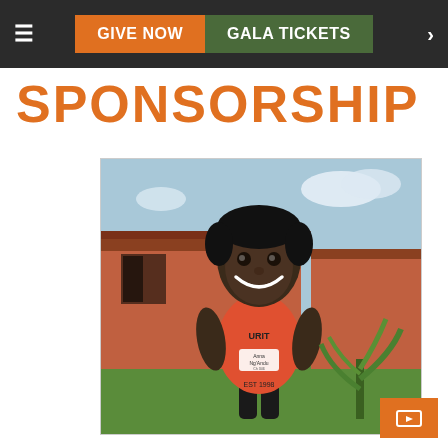GIVE NOW | GALA TICKETS
SPONSORSHIP
[Figure (photo): Young smiling girl named Anna Ng'Andu wearing a red t-shirt with a name tag, standing outside in front of an orange/terracotta building with greenery visible]
Anna Ng'Andu